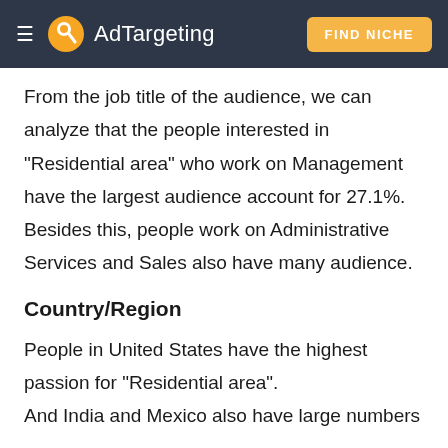AdTargeting | FIND NICHE
From the job title of the audience, we can analyze that the people interested in "Residential area" who work on Management have the largest audience account for 27.1%. Besides this, people work on Administrative Services and Sales also have many audience.
Country/Region
People in United States have the highest passion for "Residential area". And India and Mexico also have large numbers